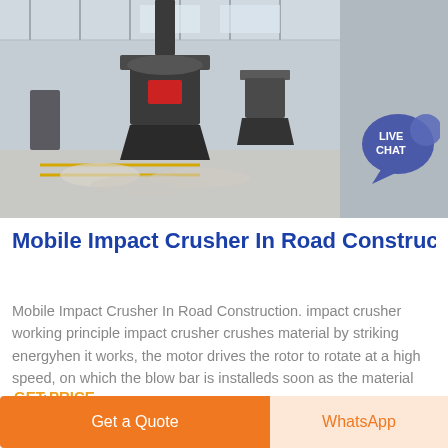[Figure (photo): Industrial factory floor showing large grey cone crushers/impact crushers on display inside a warehouse with high ceiling and natural light. White gravel/rock material visible on the floor around the machines.]
Mobile Impact Crusher In Road Constructio…
Mobile Impact Crusher In Road Construction. impact crusher working principle impact crusher crushes material by striking energyhen it works, the motor drives the rotor to rotate at a high speed, on which the blow bar is installeds soon as the material gets into t…
GET PRICE
[Figure (photo): Partial view of thumbnails/images at the bottom of the page showing industrial equipment.]
Get a Quote
WhatsApp